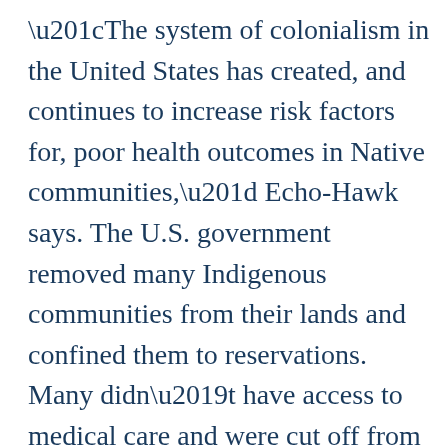“The system of colonialism in the United States has created, and continues to increase risk factors for, poor health outcomes in Native communities,” Echo-Hawk says. The U.S. government removed many Indigenous communities from their lands and confined them to reservations. Many didn’t have access to medical care and were cut off from their traditional diets and lifestyles, including spiritual practices that were tied to their homelands. Today, American Indians and Alaska Natives have higher rates of obesity, diabetes, asthma, and heart disease than white Americans, as well as higher rates of suicide. The system of oppression in the United States